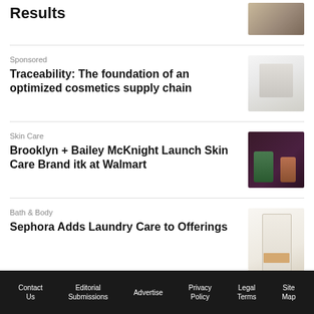Results
[Figure (photo): Partial photo at top right, brown/tan tones]
Sponsored
Traceability: The foundation of an optimized cosmetics supply chain
[Figure (photo): Light gray product image for sponsored cosmetics supply chain article]
Skin Care
Brooklyn + Bailey McKnight Launch Skin Care Brand itk at Walmart
[Figure (photo): Dark purple background with green and amber skin care product bottles]
Bath & Body
Sephora Adds Laundry Care to Offerings
[Figure (photo): White and cream laundry care product packaging]
Brick and Mortar
Contact Us  Editorial Submissions  Advertise  Privacy Policy  Legal Terms  Site Map